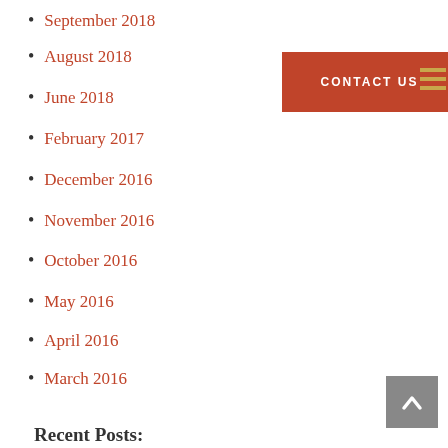September 2018
August 2018
June 2018
February 2017
December 2016
November 2016
October 2016
May 2016
April 2016
March 2016
February 2016
January 2016
November 2015
Recent Posts:
[Figure (other): CONTACT US button (dark red/burnt orange background, white uppercase text)]
[Figure (other): Hamburger menu icon with three horizontal golden/yellow lines]
[Figure (other): Back to top button (grey square with white upward chevron arrow)]